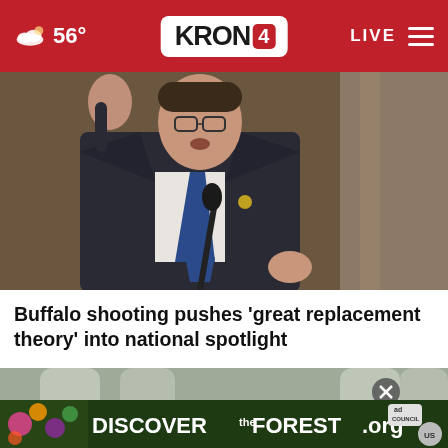56° KRON4 LIVE
[Figure (photo): A man in a dark suit and blue tie speaking at a microphone, raising one hand, at what appears to be a formal hearing or press event.]
Buffalo shooting pushes ‘great replacement theory’ into national spotlight
[Figure (photo): A partial view of water bottles and an advertisement overlay for DiscoverTheForest.org with ad council and US Forest Service logos.]